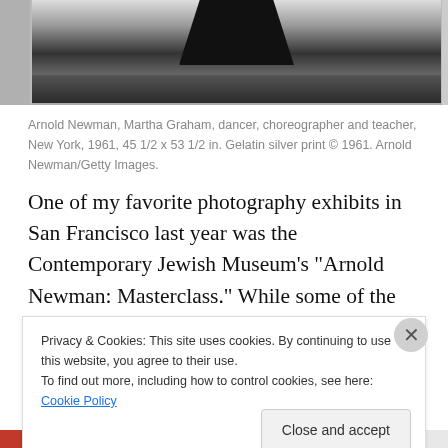[Figure (photo): Black and white photograph of Martha Graham, showing a dark silhouette shape at top against a lighter background, partially cropped at the top of the page.]
Arnold Newman, Martha Graham, dancer, choreographer and teacher, New York, 1961, 45 1/2 x 53 1/2 in. Gelatin silver print © 1961. Arnold Newman/Getty Images.
One of my favorite photography exhibits in San Francisco last year was the Contemporary Jewish Museum’s “Arnold Newman: Masterclass.” While some of the artist’s portraits have achieved iconic status (think of the composer Igor
Privacy & Cookies: This site uses cookies. By continuing to use this website, you agree to their use.
To find out more, including how to control cookies, see here: Cookie Policy
Close and accept